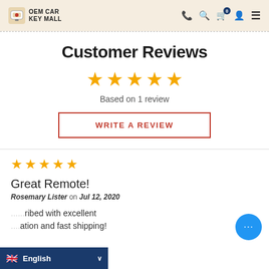OEM CAR KEY MALL
Customer Reviews
Based on 1 review
WRITE A REVIEW
[Figure (other): 5 gold stars rating]
Great Remote!
Rosemary Lister on Jul 12, 2020
...ribed with excellent ...ation and fast shipping!